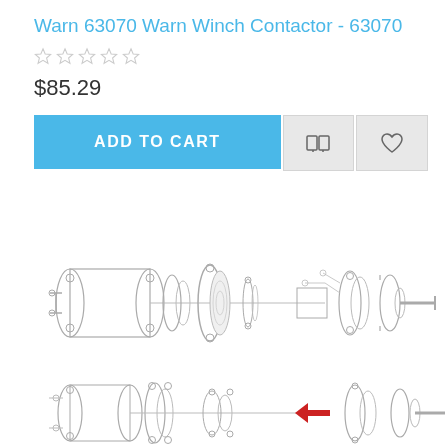Warn 63070 Warn Winch Contactor - 63070
$85.29
[Figure (schematic): Exploded view diagram of a Warn winch assembly showing individual components including motor housing, end plates, bearings, armature, and other mechanical parts. A red arrow points to the contactor component in the lower-center area of the diagram.]